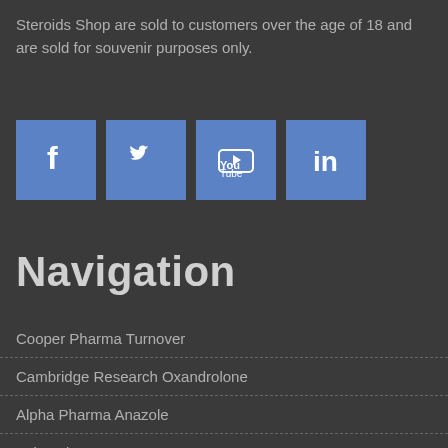Steroids Shop are sold to customers over the age of 18 and are sold for souvenir purposes only.
[Figure (other): Four social media icons: Facebook, Twitter, YouTube, LinkedIn]
Navigation
Cooper Pharma Turnover
Cambridge Research Oxandrolone
Alpha Pharma Anazole
Axio Labs Test 400
Sciroxx Deca Durabolin
Organon Hcg